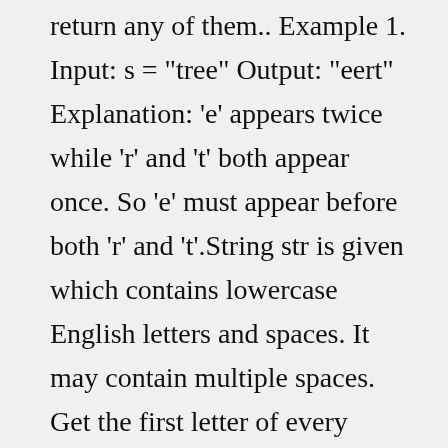return any of them.. Example 1. Input: s = "tree" Output: "eert" Explanation: 'e' appears twice while 'r' and 't' both appear once. So 'e' must appear before both 'r' and 't'.String str is given which contains lowercase English letters and spaces. It may contain multiple spaces. Get the first letter of every word and return the result as a string. ... Reverse every word of the string except the first and the last character. 29, Aug 19. Find the word from a given